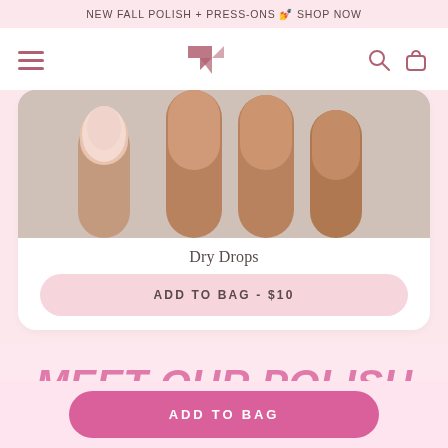NEW FALL POLISH + PRESS-ONS 💅 SHOP NOW
[Figure (screenshot): Navigation bar with hamburger menu, brand logo (ampersand-style icon), search and bag icons]
[Figure (photo): Close-up product photo of fingers/nails showing a pale pink manicure against a light background]
Dry Drops
ADD TO BAG - $10
MEET OUR POLISH
ADD TO BAG